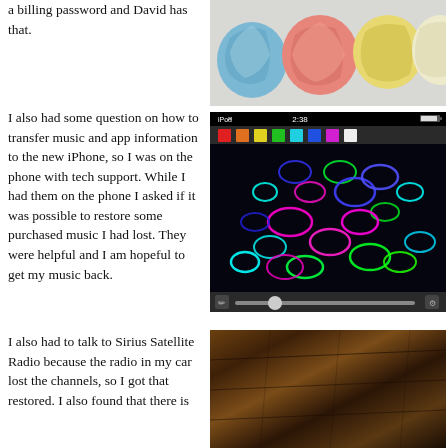a billing password and David has that.
[Figure (photo): Colorful crocheted yarn balls in pink, blue, yellow, and cream colors on a light background]
I also had some question on how to transfer music and app information to the new iPhone, so I was on the phone with tech support. While I had them on the phone I asked if it was possible to restore some purchased music I had lost. They were helpful and I am hopeful to get my music back.
[Figure (screenshot): iPod touch screenshot showing a drawing app with colorful neon swirls (cyan, blue, magenta, green) on a black background, with a color palette toolbar at top and a slider at bottom. Status bar shows iPod, WiFi, 2:38, and battery.]
I also had to talk to Sirius Satellite Radio because the radio in my car lost the channels, so I got that restored. I also found that there is
[Figure (photo): Dark wood floor or table surface with warm brown tones and wood grain texture visible]